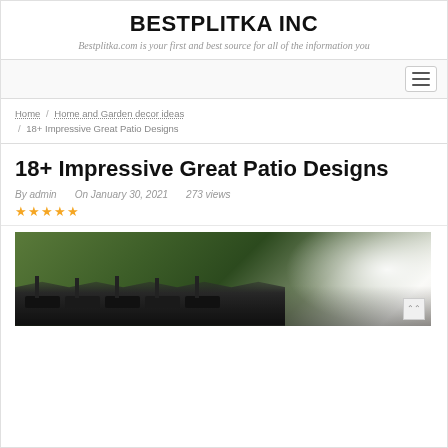BESTPLITKA INC
Bestplitka.com is your first and best source for all of the information you
Home / Home and Garden decor ideas / 18+ Impressive Great Patio Designs
18+ Impressive Great Patio Designs
By admin   On January 30, 2021   273 views
[Figure (photo): Outdoor patio scene with dark wooden lounge chairs, green trees and white flowering plants in the background]